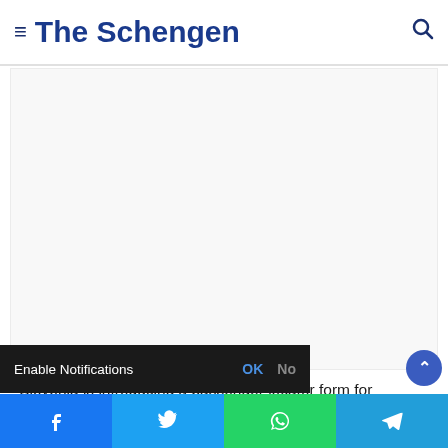The Schengen
[Figure (other): White advertisement or image placeholder area below the navigation header]
“Slovenia is introducing a passenger locator form for passengers by plane and ships on August 16 to facilitate contact tracing. Each passenger must fill out their own form i... a family or in a
[Figure (screenshot): Enable Notifications browser prompt overlay bar with OK and No buttons in dark/black background]
[Figure (other): Social share bar at the bottom with Facebook, Twitter, WhatsApp, and Telegram buttons]